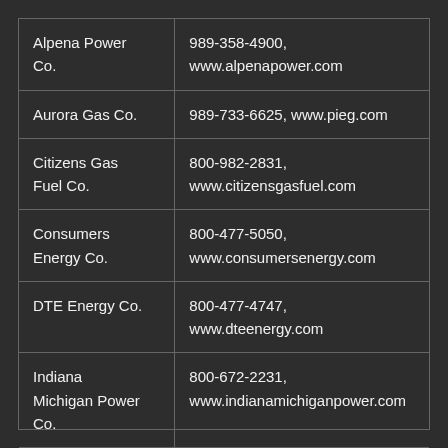| Company | Contact |
| --- | --- |
| Alpena Power Co. | 989-358-4900, www.alpenapower.com |
| Aurora Gas Co. | 989-733-6625, www.pieg.com |
| Citizens Gas Fuel Co. | 800-982-2831, www.citizensgasfuel.com |
| Consumers Energy Co. | 800-477-5050, www.consumersenergy.com |
| DTE Energy Co. | 800-477-4747, www.dteenergy.com |
| Indiana Michigan Power Co. | 800-672-2231, www.indianamichiganpower.com |